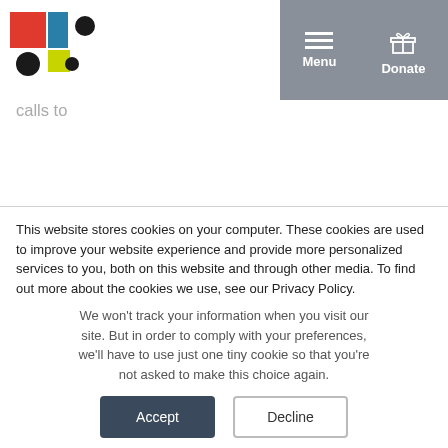Logo | Menu | Donate
authorized under the Workforce Innovation and Opportunity Act; and $2 billion for community college and industry partnerships. In addition to essential funding, RAWA calls to a broader range of COVID-impacted workers; encourages the provision of critical layoff aversion services to keep workers employed; provides funding for the expansion of distance learning opportunities; and provides funding to community colleges for the scaling of innovations in the delivery and structure of education and training programs to better meet the needs of COVID-impacted workers and employers.
This website stores cookies on your computer. These cookies are used to improve your website experience and provide more personalized services to you, both on this website and through other media. To find out more about the cookies we use, see our Privacy Policy.
We won't track your information when you visit our site. But in order to comply with your preferences, we'll have to use just one tiny cookie so that you're not asked to make this choice again.